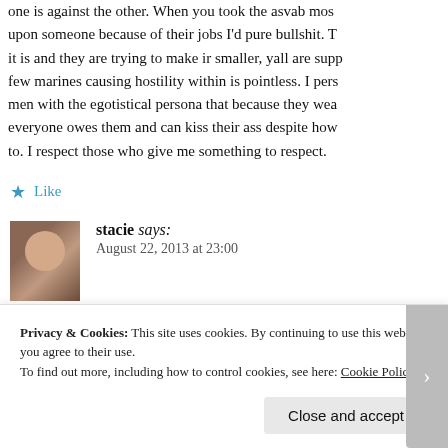one is against the other. When you took the asvab most upon someone because of their jobs I'd pure bullshit. T it is and they are trying to make ir smaller, yall are supp few marines causing hostility within is pointless. I pers men with the egotistical persona that because they wea everyone owes them and can kiss their ass despite how to. I respect those who give me something to respect.
★ Like
stacie says:
August 22, 2013 at 23:00
Sorry about the typos it's kind of late lol
Privacy & Cookies: This site uses cookies. By continuing to use this website, you agree to their use.
To find out more, including how to control cookies, see here: Cookie Policy
Close and accept